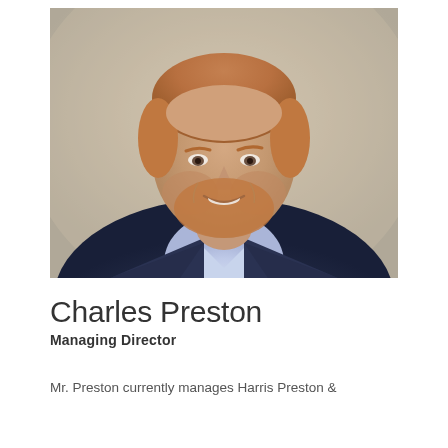[Figure (photo): Professional headshot of Charles Preston, a middle-aged man with reddish-blonde hair and beard, wearing a dark navy suit jacket with a light blue open-collar shirt, smiling at the camera against a soft blurred outdoor background.]
Charles Preston
Managing Director
Mr. Preston currently manages Harris Preston &